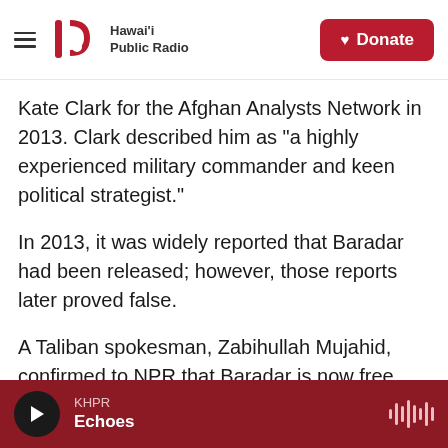Hawai'i Public Radio | Donate
Kate Clark for the Afghan Analysts Network in 2013. Clark described him as "a highly experienced military commander and keen political strategist."
In 2013, it was widely reported that Baradar had been released; however, those reports later proved false.
A Taliban spokesman, Zabihullah Mujahid, confirmed to NPR that Baradar is now free. However, he would not say exactly when Baradar was released, or if he had returned to Afghanistan.
Former Baradar...
KHPR Echoes